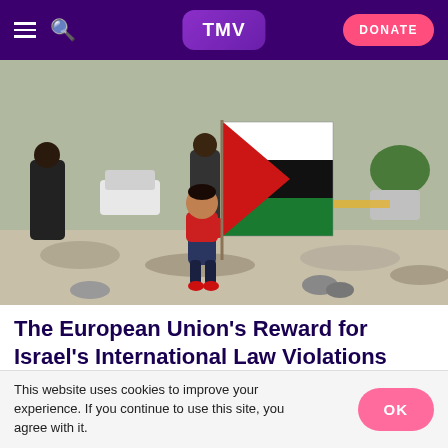TMV | DONATE
[Figure (photo): A toddler holding a large Palestinian flag standing on rocky ground, with people visible in the background.]
The European Union’s Reward for Israel’s International Law Violations
This website uses cookies to improve your experience. If you continue to use this site, you agree with it.